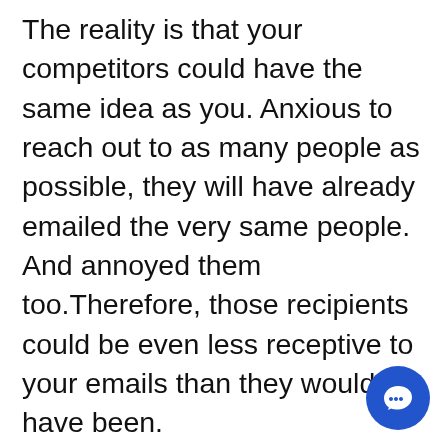The reality is that your competitors could have the same idea as you. Anxious to reach out to as many people as possible, they will have already emailed the very same people. And annoyed them too.Therefore, those recipients could be even less receptive to your emails than they would have been.

Some will have already acted
[Figure (other): Blue circular chat/messaging button with a white speech bubble icon]